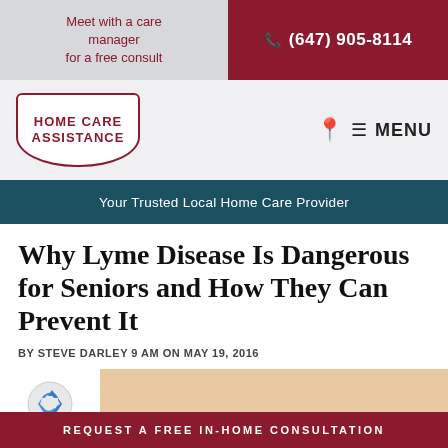Meet with a care manager for a free consult
(647) 905-8114
[Figure (logo): Home Care Assistance logo in dark red/maroon oval shape]
MENU
Your Trusted Local Home Care Provider
Why Lyme Disease Is Dangerous for Seniors and How They Can Prevent It
BY STEVE DARLEY 9 AM ON MAY 19, 2016
[Figure (photo): Close-up photo of aged senior skin/hands]
REQUEST A FREE IN-HOME CONSULTATION